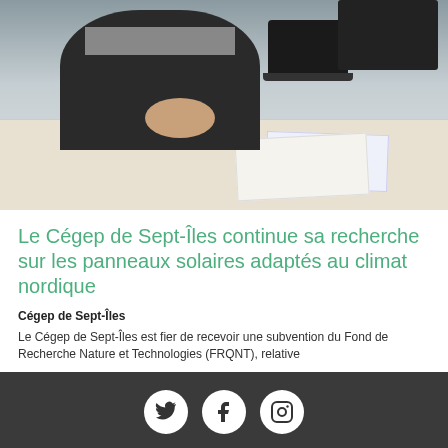[Figure (photo): A person seated at a desk with a laptop and monitor, papers on the desk, wearing a dark sweater with a grey stripe.]
Le Cégep de Sept-Îles continue sa recherche sur les panneaux solaires adaptés au climat nordique
Cégep de Sept-Îles
Le Cégep de Sept-Îles est fier de recevoir une subvention du Fond de Recherche Nature et Technologies (FRQNT), relative
Expand Footer